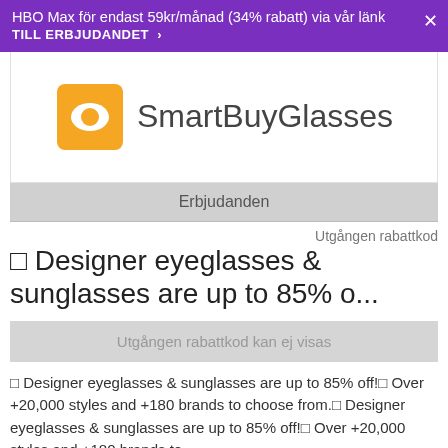HBO Max för endast 59kr/månad (34% rabatt) via vår länk TILL ERBJUDANDET >
[Figure (logo): SmartBuyGlasses logo with orange square icon and text]
Erbjudanden
Utgången rabattkod
🔲 Designer eyeglasses & sunglasses are up to 85% o...
Utgången rabattkod kan ej visas
🔲 Designer eyeglasses & sunglasses are up to 85% off! 🔲 Over +20,000 styles and +180 brands to choose from. 🔲 Designer eyeglasses & sunglasses are up to 85% off! 🔲 Over +20,000 styles and +180 brands to